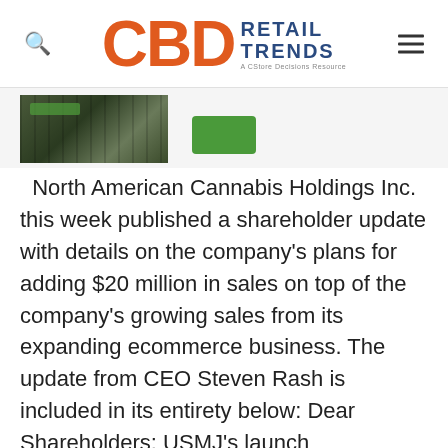CBD RETAIL TRENDS — A CStore Decisions Resource
[Figure (photo): Partial view of a retail shelf with products visible on the left, and a green logo/badge on the right]
North American Cannabis Holdings Inc. this week published a shareholder update with details on the company's plans for adding $20 million in sales on top of the company's growing sales from its expanding ecommerce business. The update from CEO Steven Rash is included in its entirety below: Dear Shareholders: USMJ's launch